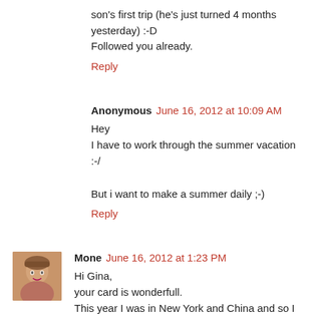son's first trip (he's just turned 4 months yesterday) :-D Followed you already.
Reply
Anonymous June 16, 2012 at 10:09 AM
Hey
I have to work through the summer vacation :-/

But i want to make a summer daily ;-)
Reply
Mone June 16, 2012 at 1:23 PM
Hi Gina,
your card is wonderfull.
This year I was in New York and China and so I have not more money for realy summer vacation. Im traverling for 3 days to Amsterdam. Thats all ;o)
Reply